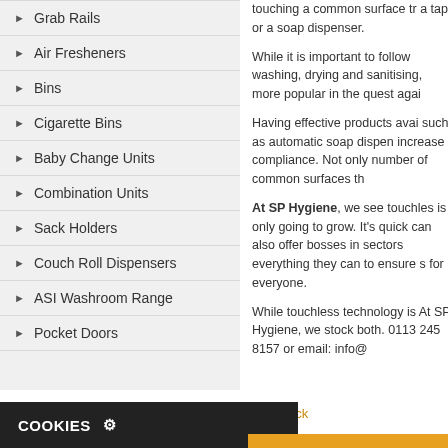Grab Rails
Air Fresheners
Bins
Cigarette Bins
Baby Change Units
Combination Units
Sack Holders
Couch Roll Dispensers
ASI Washroom Range
Pocket Doors
Tweets by @SPDoors
touching a common surface tr a tap or a soap dispenser.
While it is important to follow washing, drying and sanitising, more popular in the quest agai
Having effective products avai such as automatic soap dispen increase compliance. Not only number of common surfaces th
At SP Hygiene, we see touchles is only going to grow. It’s quick can also offer bosses in sectors everything they can to ensure s for everyone.
While touchless technology is At SP Hygiene, we stock both. 0113 245 8157 or email: info@
- Go back